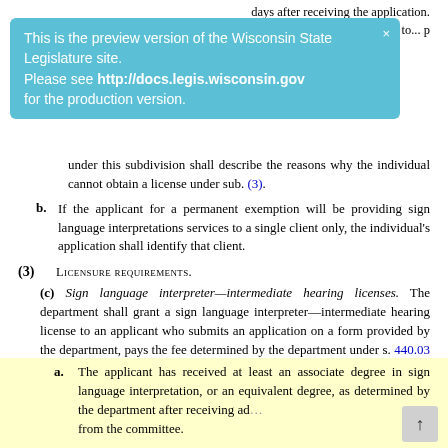days after receiving the application.
2. The department must...
[Figure (screenshot): Blue banner overlay: 'This is the preview version of the Wisconsin State Legislature site. Please see http://docs.legis.wisconsin.gov for the production version.']
under this subdivision shall describe the reasons why the individual cannot obtain a license under sub. (3).
b. If the applicant for a permanent exemption will be providing sign language interpretations services to a single client only, the individual's application shall identify that client.
(3) Licensure Requirements.
(c) Sign language interpreter—intermediate hearing licenses. The department shall grant a sign language interpreter—intermediate hearing license to an applicant who submits an application on a form provided by the department, pays the fee determined by the department under s. 440.03 (9) (a), and satisfies any of the following:
1. The applicant satisfies all of the following:
a. The applicant has received at least an associate degree in sign language interpretation, or an equivalent degree, as determined by the department after receiving advice from the committee.